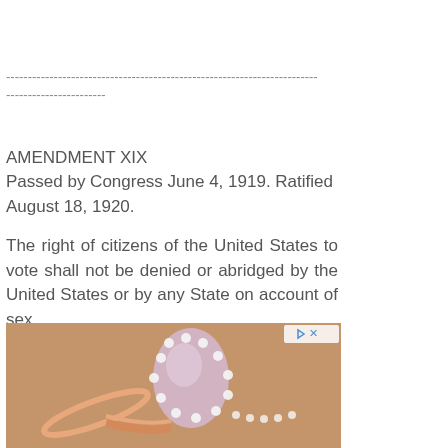------------------------------------------------------------------------
-----------------------
AMENDMENT XIX
Passed by Congress June 4, 1919. Ratified August 18, 1920.
The right of citizens of the United States to vote shall not be denied or abridged by the United States or by any State on account of sex.
[Figure (photo): Advertisement image showing a close-up of a pear-shaped gemstone ring with diamond halo set in rose gold, on a warm tan/brown background.]